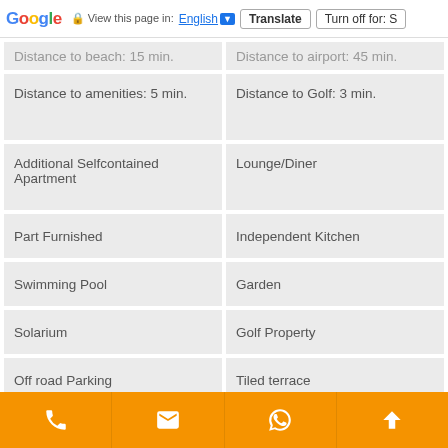Google | View this page in: English [▼] | Translate | Turn off for: S
Distance to beach: 15 min.
Distance to airport: 45 min.
Distance to amenities: 5 min.
Distance to Golf: 3 min.
Additional Selfcontained Apartment
Lounge/Diner
Part Furnished
Independent Kitchen
Swimming Pool
Garden
Solarium
Golf Property
Off road Parking
Tiled terrace
Underbuild
Scenic Views